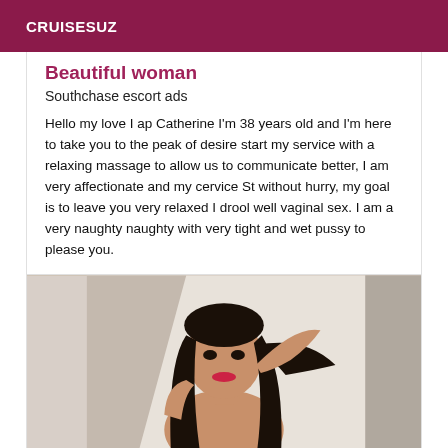CRUISESUZ
Beautiful woman
Southchase escort ads
Hello my love I ap Catherine I'm 38 years old and I'm here to take you to the peak of desire start my service with a relaxing massage to allow us to communicate better, I am very affectionate and my cervice St without hurry, my goal is to leave you very relaxed I drool well vaginal sex. I am a very naughty naughty with very tight and wet pussy to please you.
[Figure (photo): Woman with dark hair posing, wearing minimal clothing, indoors with light background]